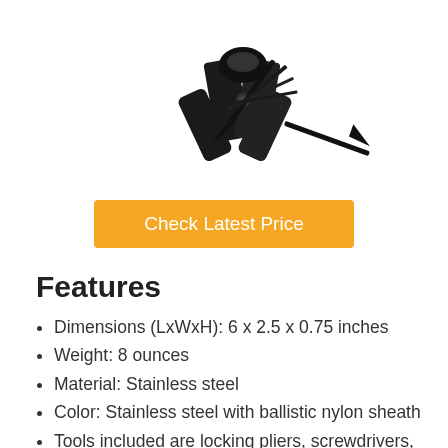[Figure (photo): Black multi-tool with pliers, knife blade, and various folded tools fanned out, photographed on white background]
Check Latest Price
Features
Dimensions (LxWxH): 6 x 2.5 x 0.75 inches
Weight: 8 ounces
Material: Stainless steel
Color: Stainless steel with ballistic nylon sheath
Tools included are locking pliers, screwdrivers, serrated knife, wire cutters, bottle opener, hex bit driver,